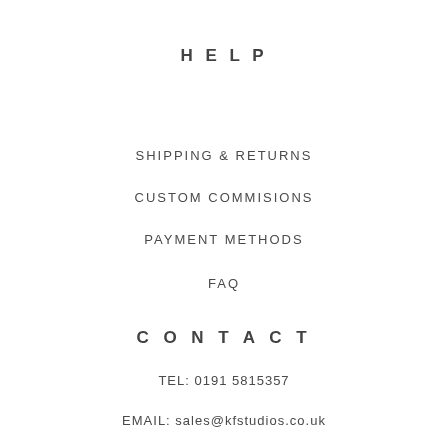HELP
SHIPPING & RETURNS
CUSTOM COMMISIONS
PAYMENT METHODS
FAQ
CONTACT
TEL: 0191 5815357
EMAIL: sales@kfstudios.co.uk